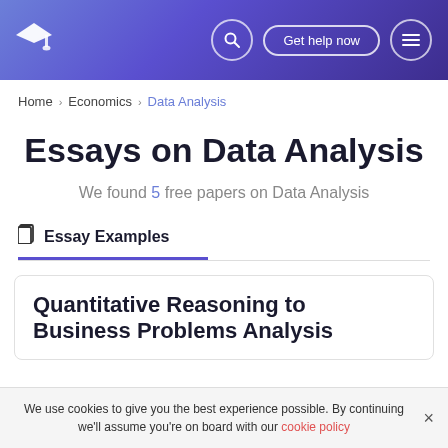[Figure (screenshot): Website header with gradient purple/blue background, graduation cap logo on left, search icon, 'Get help now' button, and hamburger menu icon on right]
Home > Economics > Data Analysis
Essays on Data Analysis
We found 5 free papers on Data Analysis
Essay Examples
Quantitative Reasoning to Business Problems Analysis
We use cookies to give you the best experience possible. By continuing we'll assume you're on board with our cookie policy